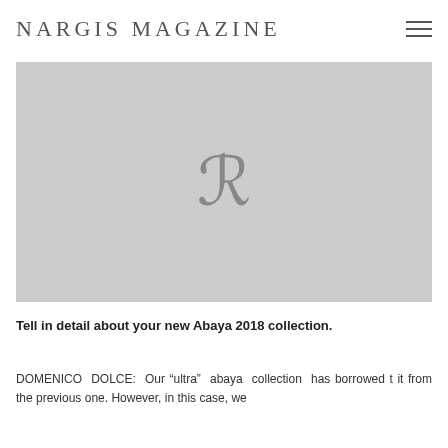NARGIS MAGAZINE
[Figure (photo): Large grey placeholder image with a stylized letter R centered in it]
Tell in detail about your new Abaya 2018 collection.
DOMENICO DOLCE: Our "ultra" abaya collection has borrowed t it from the previous one. However, in this case, we